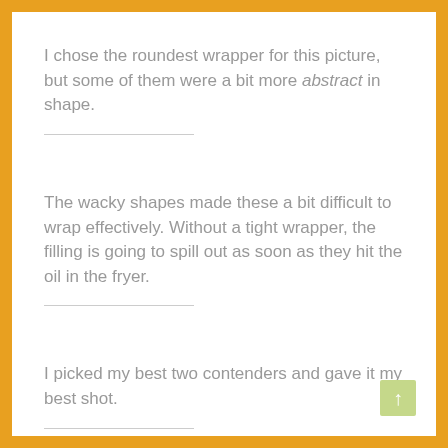I chose the roundest wrapper for this picture, but some of them were a bit more abstract in shape.
The wacky shapes made these a bit difficult to wrap effectively. Without a tight wrapper, the filling is going to spill out as soon as they hit the oil in the fryer.
I picked my best two contenders and gave it my best shot.